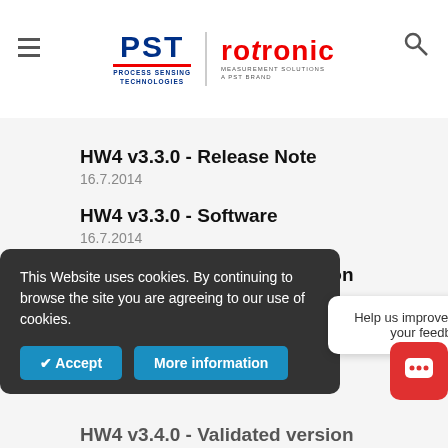PST | Rotronic – Process Sensing Technologies – Measurement Solutions A PST Brand
HW4 v3.3.0 - Release Note
16.7.2014
HW4 v3.3.0 - Software
16.7.2014
HW4 v3.3.0 - Validated version
16.7.2014
HW4 v3.4.0 - Software
30.7.2014
HW4 v3.4.0 - Release Note
This Website uses cookies. By continuing to browse the site you are agreeing to our use of cookies.
Help us improve by sharing your feedback.
HW4 v3.4.0 - Validated version